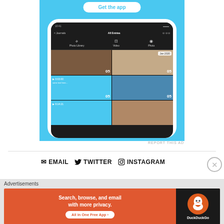[Figure (screenshot): Mobile app advertisement with a light blue background showing a smartphone mockup displaying a photo journal app interface with photo grid (Jan 2020), navigation bar, and a 'Get the app' button at the top.]
REPORT THIS AD
EMAIL   TWITTER   INSTAGRAM
Advertisements
[Figure (screenshot): DuckDuckGo advertisement banner with orange background. Text: 'Search, browse, and email with more privacy. All in One Free App'. DuckDuckGo logo on dark background on the right.]
REPORT THIS AD